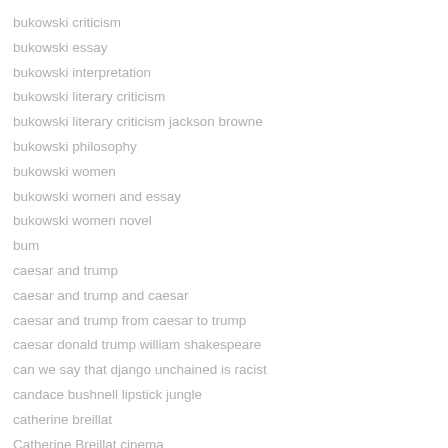bukowski criticism
bukowski essay
bukowski interpretation
bukowski literary criticism
bukowski literary criticism jackson browne
bukowski philosophy
bukowski women
bukowski women and essay
bukowski women novel
bum
caesar and trump
caesar and trump and caesar
caesar and trump from caesar to trump
caesar donald trump william shakespeare
can we say that django unchained is racist
candace bushnell lipstick jungle
catherine breillat
Catherine Breillat cinema